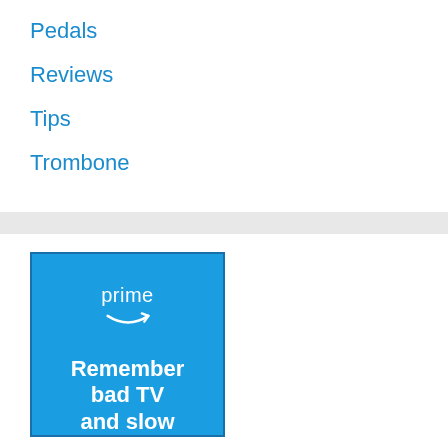Pedals
Reviews
Tips
Trombone
[Figure (illustration): Amazon Prime advertisement banner with blue background. Shows 'prime' text with Amazon smile/arrow logo, followed by bold white text 'Remember bad TV and slow']